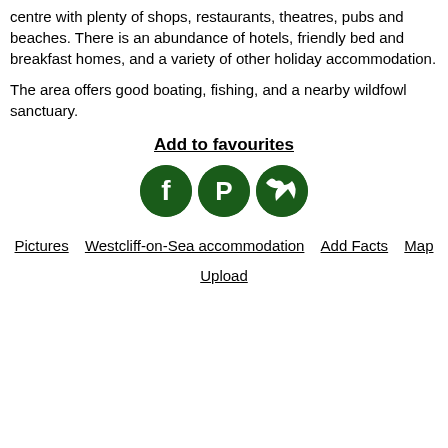centre with plenty of shops, restaurants, theatres, pubs and beaches. There is an abundance of hotels, friendly bed and breakfast homes, and a variety of other holiday accommodation.
The area offers good boating, fishing, and a nearby wildfowl sanctuary.
Add to favourites
[Figure (illustration): Three circular dark green social media icon buttons for Facebook, Pinterest, and Twitter]
Pictures   Westcliff-on-Sea accommodation   Add Facts   Map   Upload